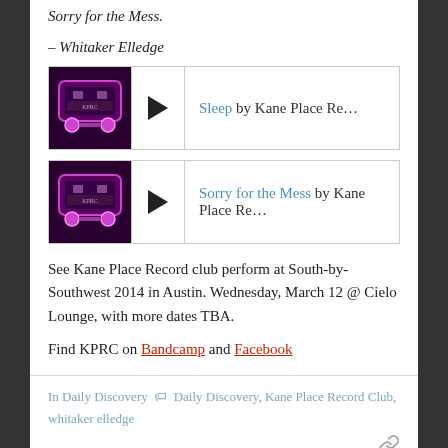Sorry for the Mess.
– Whitaker Elledge
[Figure (other): Music player widget: thumbnail image of a bus/vehicle with purple/pink tones, play button, and text 'Sleep by Kane Place Re...']
[Figure (other): Music player widget: thumbnail image of a bus/vehicle with purple/pink tones, play button, and text 'Sorry for the Mess by Kane Place Re...']
See Kane Place Record club perform at South-by-Southwest 2014 in Austin. Wednesday, March 12 @ Cielo Lounge, with more dates TBA.
Find KPRC on Bandcamp and Facebook
In Daily Discovery  Daily Discovery, Kane Place Record Club, whitaker elledge